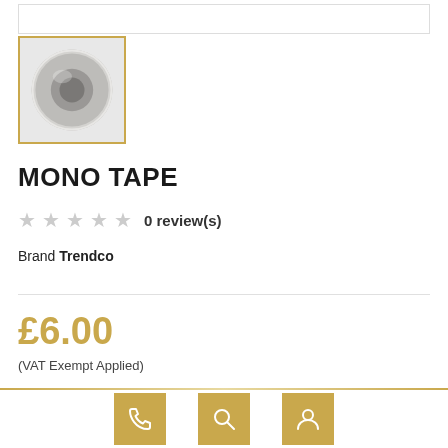[Figure (photo): A roll of mono tape (clear/white tape on a roll) shown from a slight angle, on a light background, with a gold border around the thumbnail image.]
MONO TAPE
0 review(s)
Brand Trendco
£6.00
(VAT Exempt Applied)